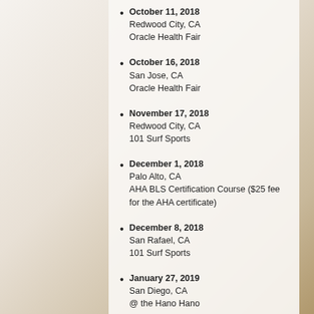October 11, 2018
Redwood City, CA
Oracle Health Fair
October 16, 2018
San Jose, CA
Oracle Health Fair
November 17, 2018
Redwood City, CA
101 Surf Sports
December 1, 2018
Palo Alto, CA
AHA BLS Certification Course  ($25 fee for the AHA certificate)
December 8, 2018
San Rafael, CA
101 Surf Sports
January 27, 2019
San Diego, CA
@ the Hano Hano